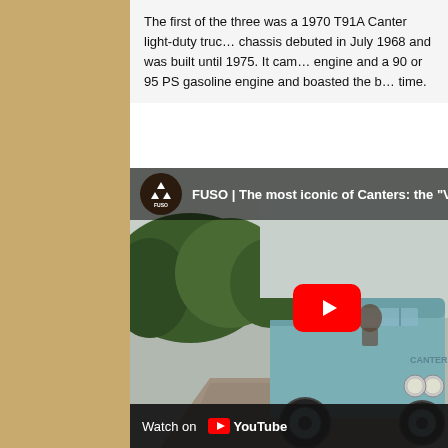The first of the three was a 1970 T91A Canter light-duty truck chassis debuted in July 1968 and was built until 1975. It came with engine and a 90 or 95 PS gasoline engine and boasted the best at the time.
[Figure (screenshot): YouTube video embed showing a FUSO Canter vintage light-duty truck on a rural road, with the video title 'FUSO | The most iconic of Canters: the V-...' and a YouTube play button overlay. Bottom bar shows 'Watch on YouTube'.]